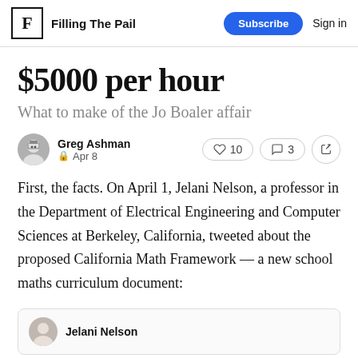Filling The Pail | Subscribe | Sign in
$5000 per hour
What to make of the Jo Boaler affair
Greg Ashman
🔒 Apr 8
❤ 10  💬 3  ↗
First, the facts. On April 1, Jelani Nelson, a professor in the Department of Electrical Engineering and Computer Sciences at Berkeley, California, tweeted about the proposed California Math Framework — a new school maths curriculum document:
Jelani Nelson